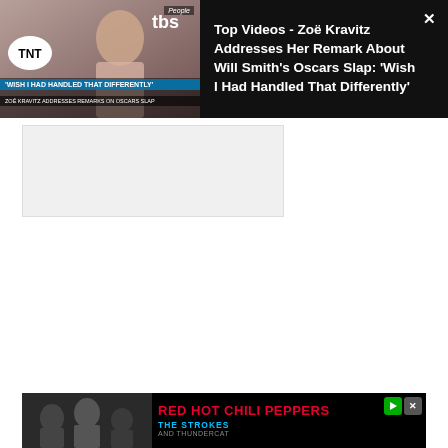[Figure (screenshot): Video thumbnail: Zoë Kravitz at awards show with TNT/TBS logos and overlay text 'Wish I Had Handled That Differently' and 'Zoë Kravitz Addresses Remarks on Oscars Slap']
Top Videos - Zoë Kravitz Addresses Her Remark About Will Smith's Oscars Slap: 'Wish I Had Handled That Differently'
[Figure (screenshot): Blank gray advertisement placeholder block]
[Figure (screenshot): YouTube embedded video: Foo Fighters - Shame Shame (Aud...) with black-and-white silhouette scene and YouTube play button]
[Figure (screenshot): Advertisement banner for Red Hot Chili Peppers, The Strokes, and Thundercat]